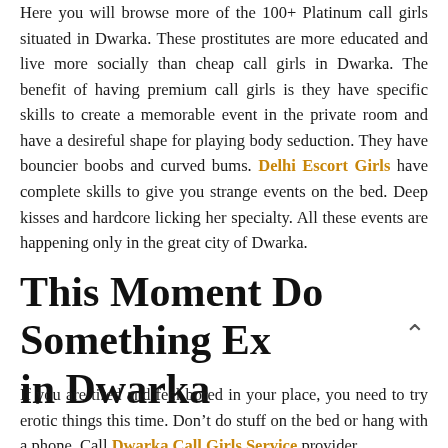Here you will browse more of the 100+ Platinum call girls situated in Dwarka. These prostitutes are more educated and live more socially than cheap call girls in Dwarka. The benefit of having premium call girls is they have specific skills to create a memorable event in the private room and have a desireful shape for playing body seduction. They have bouncier boobs and curved bums. Delhi Escort Girls have complete skills to give you strange events on the bed. Deep kisses and hardcore licking her specialty. All these events are happening only in the great city of Dwarka.
This Moment Do Something Exciting in Dwarka
If you are tired and feel bored in your place, you need to try erotic things this time. Don't do stuff on the bed or hang with a phone. Call Dwarka Call Girls Service provider